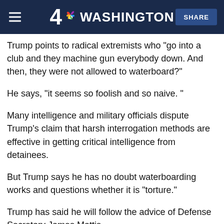4 NBC WASHINGTON | SHARE
Trump points to radical extremists who “go into a club and they machine gun everybody down. And then, they were not allowed to waterboard?”
He says, “it seems so foolish and so naive. ”
Many intelligence and military officials dispute Trump’s claim that harsh interrogation methods are effective in getting critical intelligence from detainees.
But Trump says he has no doubt waterboarding works and questions whether it is “torture.”
Trump has said he will follow the advice of Defense Secretary James Mattis.